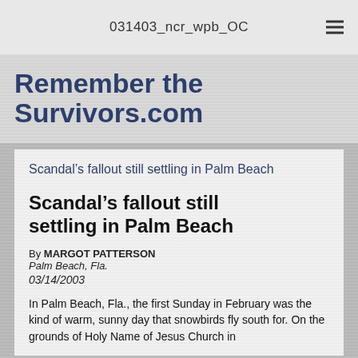031403_ncr_wpb_OC
Remember the Survivors.com
Scandal’s fallout still settling in Palm Beach
Scandal’s fallout still settling in Palm Beach
By MARGOT PATTERSON
Palm Beach, Fla.
03/14/2003
In Palm Beach, Fla., the first Sunday in February was the kind of warm, sunny day that snowbirds fly south for. On the grounds of Holy Name of Jesus Church in